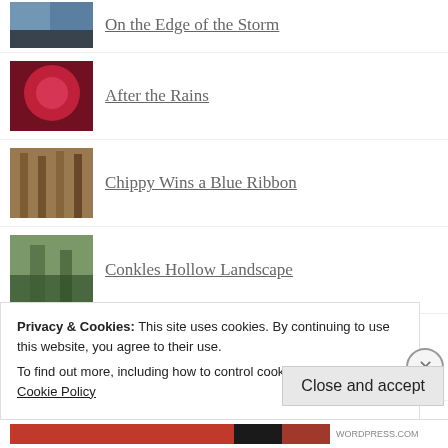On the Edge of the Storm
After the Rains
Chippy Wins a Blue Ribbon
Conkles Hollow Landscape
Summer Shine
This Solitude will Soon Pass Away
Privacy & Cookies: This site uses cookies. By continuing to use this website, you agree to their use. To find out more, including how to control cookies, see here: Cookie Policy
Close and accept